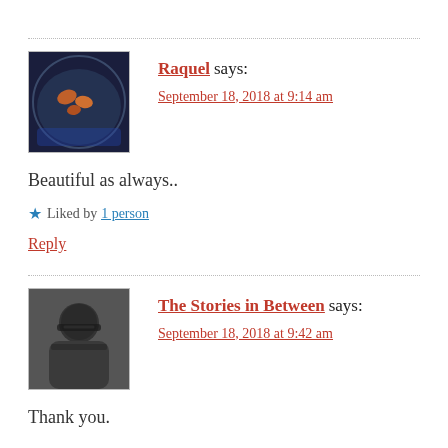Raquel says: September 18, 2018 at 9:14 am
Beautiful as always..
Liked by 1 person
Reply
The Stories in Between says: September 18, 2018 at 9:42 am
Thank you.